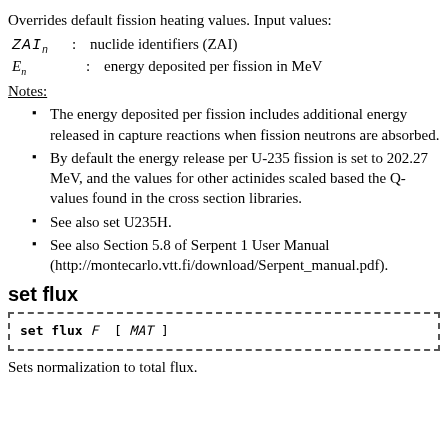Overrides default fission heating values. Input values:
ZAIn : nuclide identifiers (ZAI)
En : energy deposited per fission in MeV
Notes:
The energy deposited per fission includes additional energy released in capture reactions when fission neutrons are absorbed.
By default the energy release per U-235 fission is set to 202.27 MeV, and the values for other actinides scaled based the Q-values found in the cross section libraries.
See also set U235H.
See also Section 5.8 of Serpent 1 User Manual (http://montecarlo.vtt.fi/download/Serpent_manual.pdf).
set flux
set flux F [ MAT ]
Sets normalization to total flux.